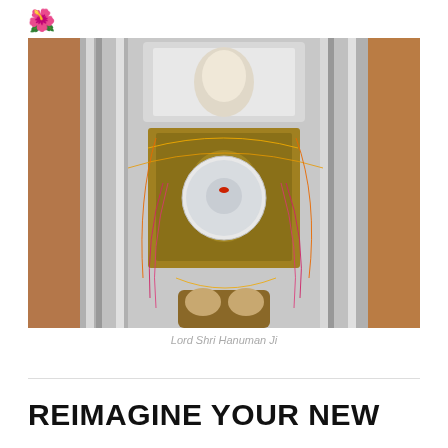[Figure (logo): Small flower/lotus emoji icon used as site logo]
[Figure (photo): Photo of Lord Shri Hanuman Ji deity idol adorned with orange and yellow marigold garlands, pink flower garlands, ornate silver temple backdrop with decorative carvings, face covered with a round silver mask]
Lord Shri Hanuman Ji
REIMAGINE YOUR NEW